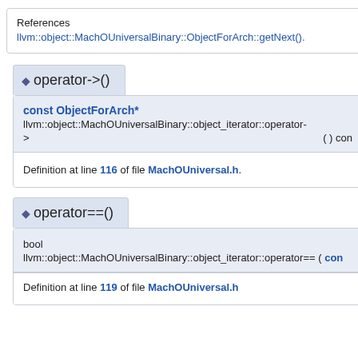References
llvm::object::MachOUniversalBinary::ObjectForArch::getNext().
operator->()
const ObjectForArch*
llvm::object::MachOUniversalBinary::object_iterator::operator-> ( ) con
Definition at line 116 of file MachOUniversal.h.
operator==()
bool
llvm::object::MachOUniversalBinary::object_iterator::operator== ( con
Definition at line 119 of file MachOUniversal.h.